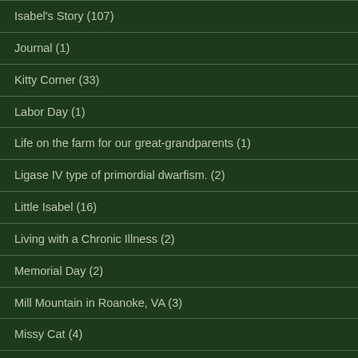Isabel's Story (107)
Journal (1)
Kitty Corner (33)
Labor Day (1)
Life on the farm for our great-grandparents (1)
Ligase IV type of primordial dwarfism. (2)
Little Isabel (16)
Living with a Chronic Illness (2)
Memorial Day (2)
Mill Mountain in Roanoke, VA (3)
Missy Cat (4)
Missy Cat in the Heart of the Tree by Kathy Purdy and Illustrated by Ron Sumner (1)
Mother to Daughter (1)
Mother's Day (9)
Music (59)